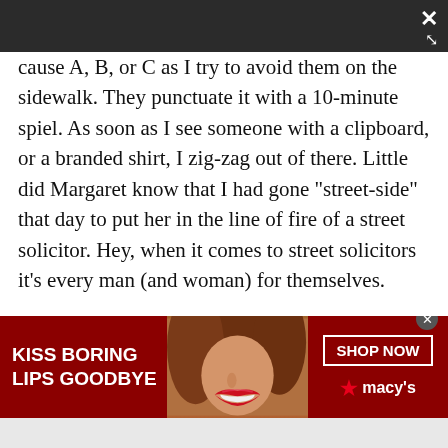cause A, B, or C as I try to avoid them on the sidewalk. They punctuate it with a 10-minute spiel. As soon as I see someone with a clipboard, or a branded shirt, I zig-zag out of there. Little did Margaret know that I had gone "street-side" that day to put her in the line of fire of a street solicitor. Hey, when it comes to street solicitors it's every man (and woman) for themselves.
[Figure (infographic): Macy's advertisement banner: 'KISS BORING LIPS GOODBYE' with a photo of a woman's face with red lipstick, and a 'SHOP NOW' button with the Macy's star logo on a dark red background.]